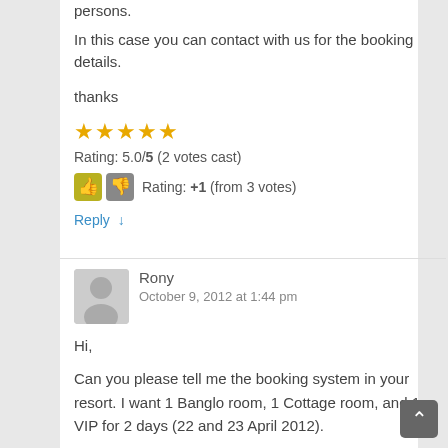persons.
In this case you can contact with us for the booking details.
thanks
[Figure (other): Five yellow star rating icons]
Rating: 5.0/5 (2 votes cast)
Rating: +1 (from 3 votes)
Reply ↓
Rony
October 9, 2012 at 1:44 pm

Hi,

Can you please tell me the booking system in your resort. I want 1 Banglo room, 1 Cottage room, and 1 VIP for 2 days (22 and 23 April 2012).

Thank you.